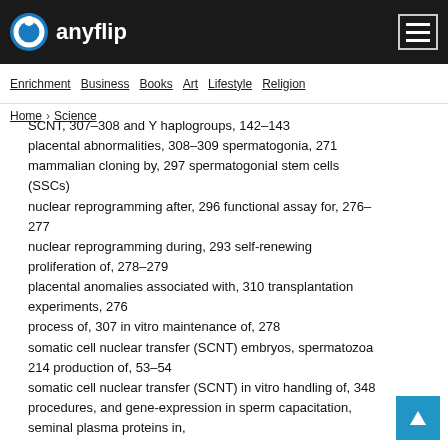anyflip — Enrichment | Business | Books | Art | Lifestyle | Religion
SCNT, 307–308 and Y haplogroups, 142–143
placental abnormalities, 308–309 spermatogonia, 271
mammalian cloning by, 297 spermatogonial stem cells (SSCs)
nuclear reprogramming after, 296 functional assay for, 276–277
nuclear reprogramming during, 293 self-renewing proliferation of, 278–279
placental anomalies associated with, 310 transplantation experiments, 276
process of, 307 in vitro maintenance of, 278
somatic cell nuclear transfer (SCNT) embryos, spermatozoa 214 production of, 53–54
somatic cell nuclear transfer (SCNT) in vitro handling of, 348 procedures, and gene-expression in sperm capacitation, seminal plasma proteins in,